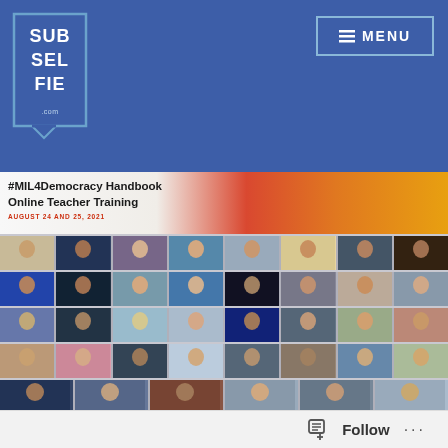[Figure (logo): SubSelfie logo with blue background and speech bubble border design, text reads SUB SEL FIE .com]
≡ MENU
[Figure (photo): Group photo collage from #MIL4Democracy Handbook Online Teacher Training held August 24 and 25, 2021. Multiple rows of teacher participants shown in video conference grid layout.]
#MIL4Democracy Handbook Online Teacher Training
AUGUST 24 AND 25, 2021
Follow ...